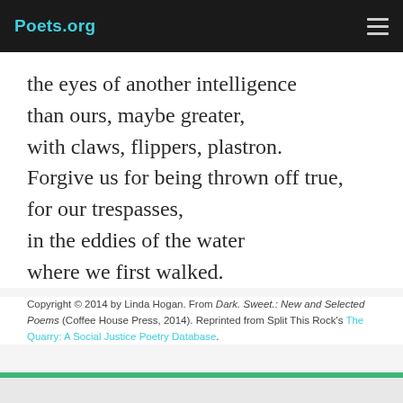Poets.org
the eyes of another intelligence
than ours, maybe greater,
with claws, flippers, plastron.
Forgive us for being thrown off true,
for our trespasses,
in the eddies of the water
where we first walked.
Copyright © 2014 by Linda Hogan. From Dark. Sweet.: New and Selected Poems (Coffee House Press, 2014). Reprinted from Split This Rock's The Quarry: A Social Justice Poetry Database.